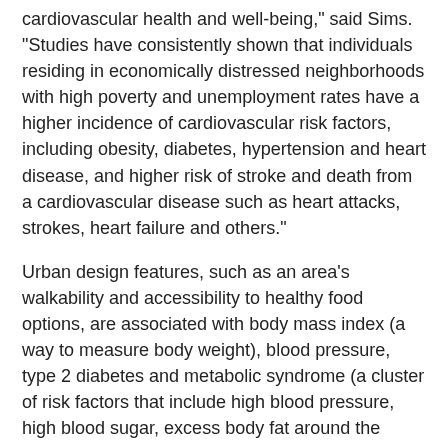cardiovascular health and well-being," said Sims. "Studies have consistently shown that individuals residing in economically distressed neighborhoods with high poverty and unemployment rates have a higher incidence of cardiovascular risk factors, including obesity, diabetes, hypertension and heart disease, and higher risk of stroke and death from a cardiovascular disease such as heart attacks, strokes, heart failure and others."
Urban design features, such as an area's walkability and accessibility to healthy food options, are associated with body mass index (a way to measure body weight), blood pressure, type 2 diabetes and metabolic syndrome (a cluster of risk factors that include high blood pressure, high blood sugar, excess body fat around the waist and abnormal cholesterol or triglyceride levels). Research suggests that neighborhood greenness, or vegetation, may also be beneficial for cardiovascular health. Higher levels of greenness are also associated with lower rates of type 2 diabetes, heart attack, coronary artery disease and heart failure.
Providing equitable housing opportunities may improve